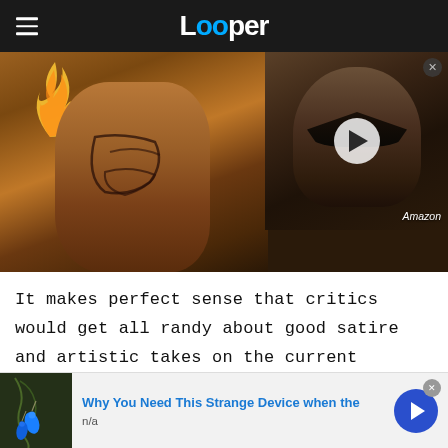Looper
[Figure (photo): Left: muscular warrior figure with body paint/tattoos and flames. Right: Mandalorian helmet thumbnail with play button overlay and Amazon label.]
It makes perfect sense that critics would get all randy about good satire and artistic takes on the current cultural climate, but let's not forget the juicy stuff. Will season 2 have enough blood-soaked
[Figure (photo): Advertisement banner: image of blue teardrop pendant, text 'Why You Need This Strange Device when the', subtext 'n/a', blue arrow button on right.]